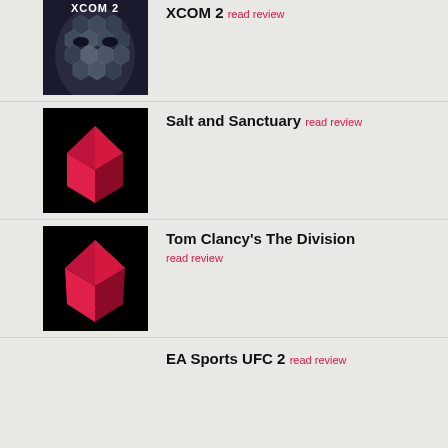XCOM 2 read review
[Figure (photo): XCOM 2 game cover showing an alien face made of hexagonal tiles]
Salt and Sanctuary read review
[Figure (photo): Salt and Sanctuary game cover with red geometric diamond shape on black background]
Tom Clancy's The Division
read review
[Figure (photo): Tom Clancy's The Division game cover with red geometric diamond shape on black background]
EA Sports UFC 2 read review